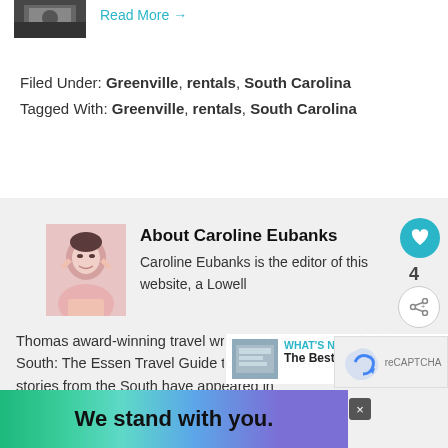[Figure (photo): Small thumbnail photo at top left, dark image]
Read More →
Filed Under: Greenville, rentals, South Carolina
Tagged With: Greenville, rentals, South Carolina
[Figure (photo): Author photo of Caroline Eubanks, woman in pink shirt smiling]
About Caroline Eubanks
Caroline Eubanks is the editor of this website, a Lowell Thomas award-winning travel writer, and the author of This Is My South: The Essen Travel Guide to the Southern States. Her stories from the South have appeared in
[Figure (photo): What's Next thumbnail - book cover image]
WHAT'S NEXT → The Best Airbnb...
[Figure (infographic): We stand with you. colorful gradient banner advertisement with close button]